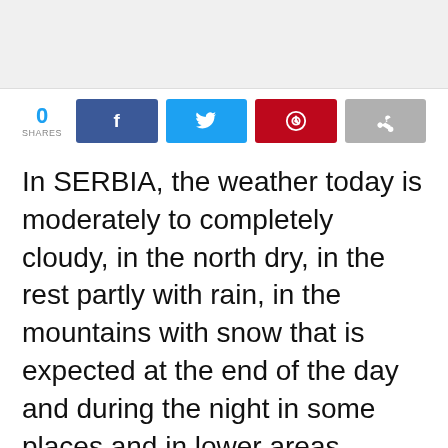[Figure (other): Gray banner placeholder image at the top of the page]
[Figure (infographic): Social sharing bar with share count of 0, Facebook, Twitter, Pinterest, and share buttons]
In SERBIA, the weather today is moderately to completely cloudy, in the north dry, in the rest partly with rain, in the mountains with snow that is expected at the end of the day and during the night in some places and in lower areas.